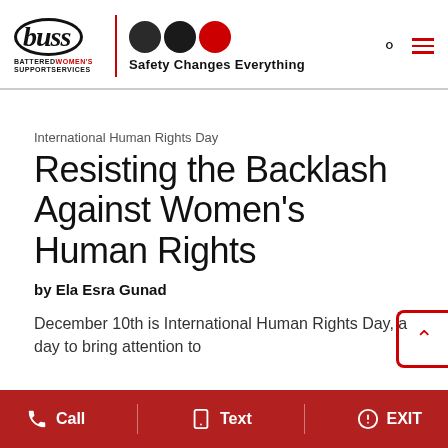[Figure (logo): BWSS (Battered Women's Support Services) logo with three circles (two dark, one red) and tagline 'Safety Changes Everything']
International Human Rights Day
Resisting the Backlash Against Women's Human Rights
by Ela Esra Gunad
December 10th is International Human Rights Day, a day to bring attention to
Call  Text  EXIT